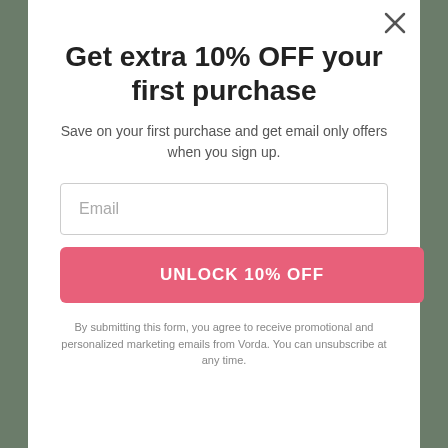Get extra 10% OFF your first purchase
Save on your first purchase and get email only offers when you sign up.
Email
UNLOCK 10% OFF
By submitting this form, you agree to receive promotional and personalized marketing emails from Vorda. You can unsubscribe at any time.